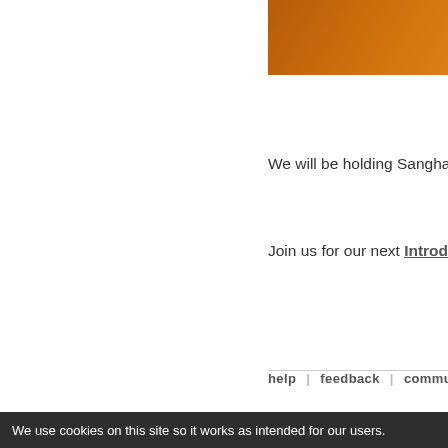[Figure (photo): Orange/amber colored abstract image, partially visible, with a fullscreen expand icon in the bottom right corner]
We will be holding Sangha Night in our new locatio…
Join us for our next Introduction to Meditation wit…
log in or register to take part in this conversati…
help | feedback | communit…
We use cookies on this site so it works as intended for our users.